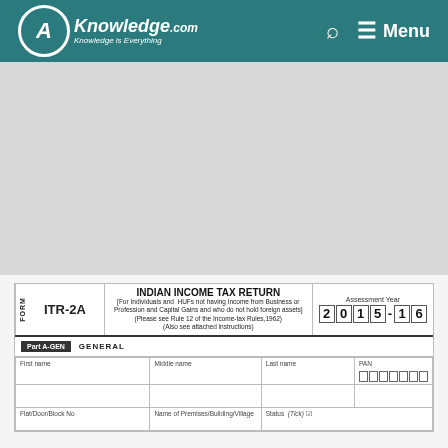CAknowledge.com — Knowledge is Everything | Search | Menu
[Figure (screenshot): Gray background area (advertisement/image placeholder)]
INDIAN INCOME TAX RETURN
FORM ITR-2A [For Individuals and HUFs not having Income from Business or Profession and Capital Gains and who do not hold foreign assets] (Please see Rule 12 of the Income-tax Rules,1962) (Also see attached instructions) Assessment Year 2 0 1 5 - 1 6
| First name | Middle name | Last name | PAN |
| --- | --- | --- | --- |
|  |  |  |  |
| Flat/Door/Block No | Name of Premises/Building/Village | Status (Tick) |
Part A-GEN  GENERAL